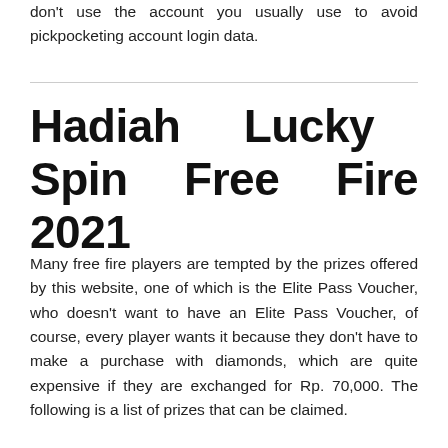don't use the account you usually use to avoid pickpocketing account login data.
Hadiah Lucky Spin Free Fire 2021
Many free fire players are tempted by the prizes offered by this website, one of which is the Elite Pass Voucher, who doesn't want to have an Elite Pass Voucher, of course, every player wants it because they don't have to make a purchase with diamonds, which are quite expensive if they are exchanged for Rp. 70,000. The following is a list of prizes that can be claimed.